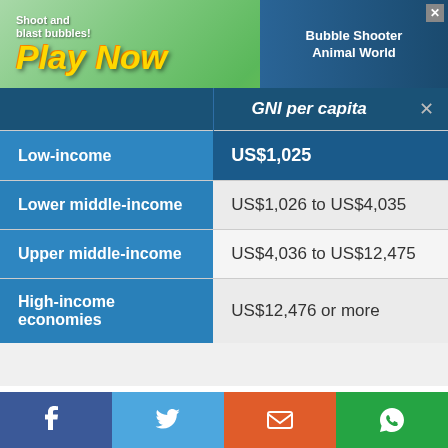[Figure (screenshot): Advertisement banner: 'Shoot and Blast Bubbles! Play Now' game ad with Bubble Shooter Animal World text]
|  | GNI per capita |
| --- | --- |
| Low-income | US$1,025 |
| Lower middle-income | US$1,026 to US$4,035 |
| Upper middle-income | US$4,036 to US$12,475 |
| High-income economies | US$12,476 or more |
Source: World Bank
So, for Malaysia to be a high-income economy, it needs